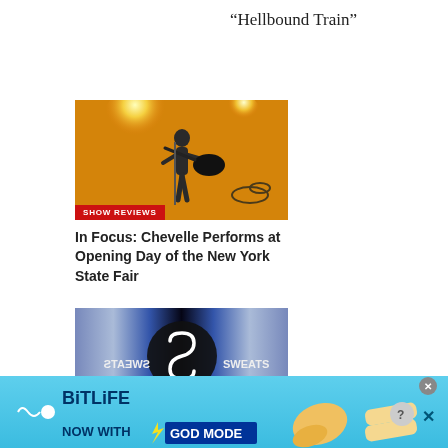“Hellbound Train”
[Figure (photo): Guitarist performing on stage with bright orange/yellow stage lighting, with a SHOW REVIEWS badge overlay]
SHOW REVIEWS
In Focus: Chevelle Performs at Opening Day of the New York State Fair
[Figure (photo): Sweats & Sweats music album or artist promotional image with large S8 logo, text partially mirrored]
[Figure (screenshot): BitLife advertisement banner: NOW WITH GOD MODE, with hand pointing gesture and close/help buttons]